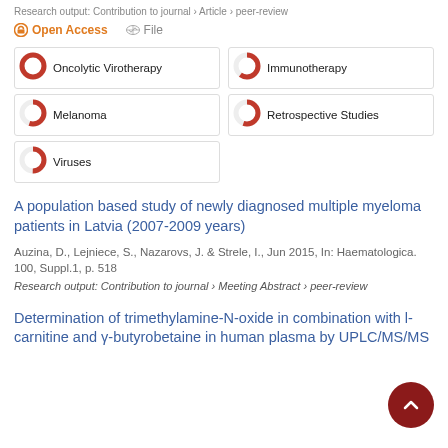Research output: Contribution to journal › Article › peer-review
Open Access   File
[Figure (infographic): Five keyword badges with donut-style percentage indicators: Oncolytic Virotherapy (100%), Immunotherapy (~60%), Melanoma (~55%), Retrospective Studies (~55%), Viruses (~50%)]
A population based study of newly diagnosed multiple myeloma patients in Latvia (2007-2009 years)
Auzina, D., Lejniece, S., Nazarovs, J. & Strele, I., Jun 2015, In: Haematologica. 100, Suppl.1, p. 518
Research output: Contribution to journal › Meeting Abstract › peer-review
Determination of trimethylamine-N-oxide in combination with l-carnitine and γ-butyrobetaine in human plasma by UPLC/MS/MS